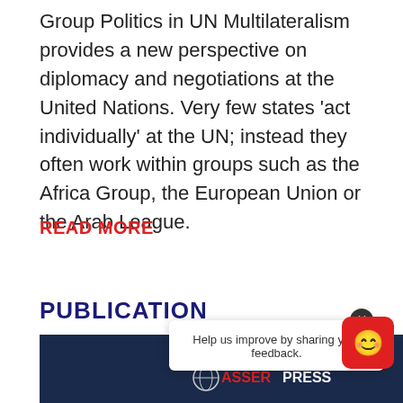Group Politics in UN Multilateralism provides a new perspective on diplomacy and negotiations at the United Nations. Very few states 'act individually' at the UN; instead they often work within groups such as the Africa Group, the European Union or the Arab League.
READ MORE
PUBLICATION
[Figure (screenshot): Publication thumbnail image showing a dark blue background with a globe icon and 'ASSER PRESS' text in red and white]
Help us improve by sharing your feedback.